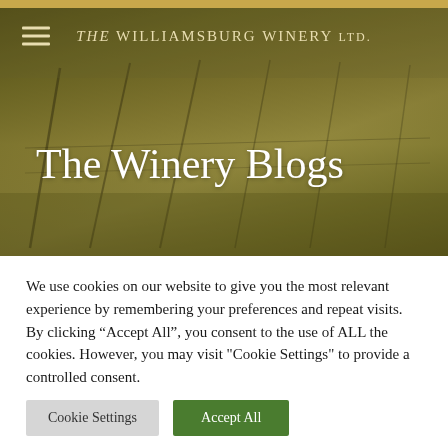The Williamsburg Winery Ltd.
[Figure (photo): Hero image of a vineyard with an olive/golden-brown toned landscape showing vineyard posts and rows of vines under a hazy sky.]
The Winery Blogs
We use cookies on our website to give you the most relevant experience by remembering your preferences and repeat visits. By clicking “Accept All”, you consent to the use of ALL the cookies. However, you may visit "Cookie Settings" to provide a controlled consent.